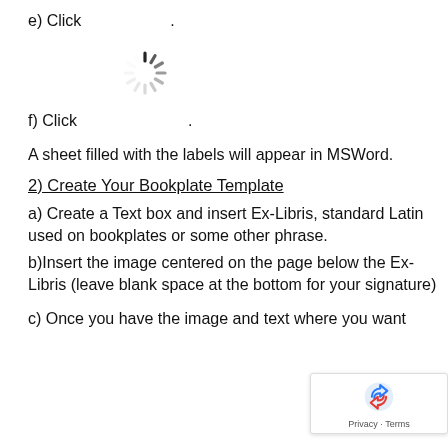e) Click                    .
[Figure (illustration): Loading spinner icon (circular dashed/spoked loading indicator)]
f) Click                              .
A sheet filled with the labels will appear in MSWord.
2) Create Your Bookplate Template
a) Create a Text box and insert Ex-Libris, standard Latin used on bookplates or some other phrase.
b) Insert the image centered on the page below the Ex-Libris (leave blank space at the bottom for your signature)
c) Once you have the image and text where you want